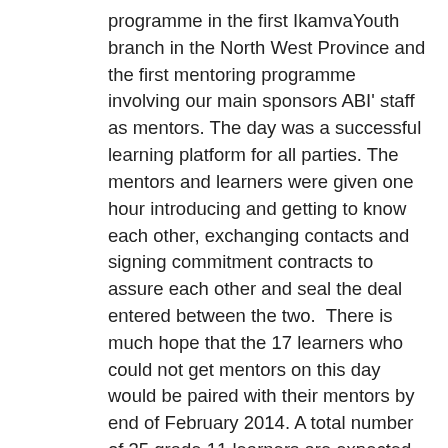programme in the first IkamvaYouth branch in the North West Province and the first mentoring programme involving our main sponsors ABI' staff as mentors. The day was a successful learning platform for all parties. The mentors and learners were given one hour introducing and getting to know each other, exchanging contacts and signing commitment contracts to assure each other and seal the deal entered between the two.  There is much hope that the 17 learners who could not get mentors on this day would be paired with their mentors by end of February 2014. A total number of 35 grade 11 learners are expected to complete grade 12 with required attendance and commitment.